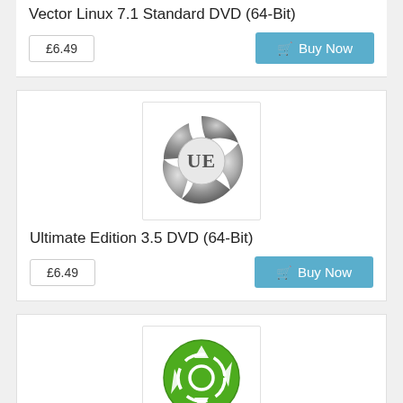Vector Linux 7.1 Standard DVD (64-Bit)
£6.49
Buy Now
[Figure (logo): Ultimate Edition UE metallic circular logo]
Ultimate Edition 3.5 DVD (64-Bit)
£6.49
Buy Now
[Figure (logo): Ubuntu MATE green circular logo with text 'ubuntu MATE']